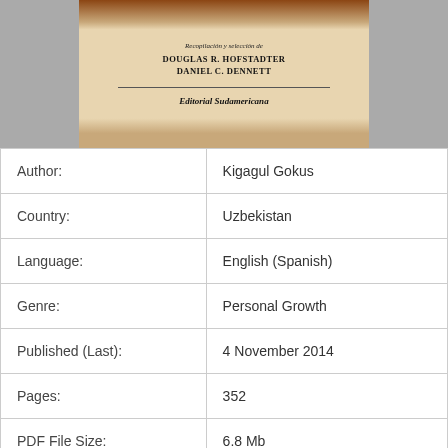[Figure (photo): Book cover photo showing a Spanish-language book published by Editorial Sudamericana, compiled by Douglas R. Hofstadter and Daniel C. Dennett]
| Author: | Kigagul Gokus |
| Country: | Uzbekistan |
| Language: | English (Spanish) |
| Genre: | Personal Growth |
| Published (Last): | 4 November 2014 |
| Pages: | 352 |
| PDF File Size: | 6.8 Mb |
| ePub File Size: | 8.99 Mb |